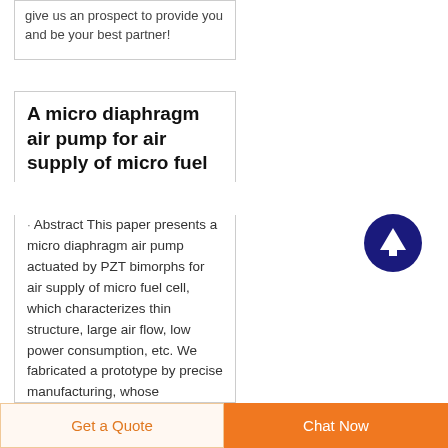give us an prospect to provide you and be your best partner!
A micro diaphragm air pump for air supply of micro fuel
· Abstract This paper presents a micro diaphragm air pump actuated by PZT bimorphs for air supply of micro fuel cell, which characterizes thin structure, large air flow, low power consumption, etc. We fabricated a prototype by precise manufacturing, whose
[Figure (other): Dark navy blue circular scroll-to-top button with white upward arrow icon]
Get a Quote   Chat Now